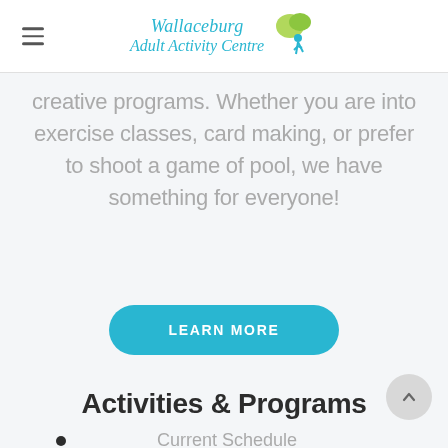Wallaceburg Adult Activity Centre
creative programs. Whether you are into exercise classes, card making, or prefer to shoot a game of pool, we have something for everyone!
[Figure (other): Teal rounded rectangle button reading LEARN MORE]
Activities & Programs
Current Schedule
Fitness Activities
Creative Endeavours